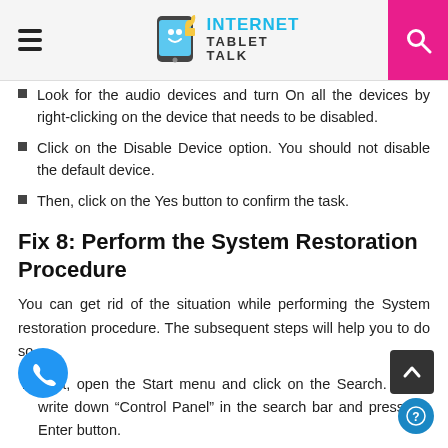Internet Tablet Talk
Look for the audio devices and turn On all the devices by right-clicking on the device that needs to be disabled.
Click on the Disable Device option. You should not disable the default device.
Then, click on the Yes button to confirm the task.
Fix 8: Perform the System Restoration Procedure
You can get rid of the situation while performing the System restoration procedure. The subsequent steps will help you to do so.
First, open the Start menu and click on the Search. Then, write down “Control Panel” in the search bar and press the Enter button.
Click on the Recovery option and then the System...